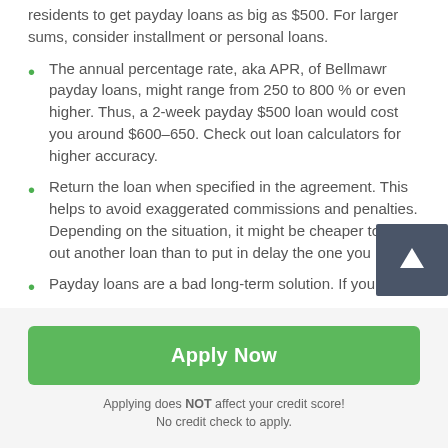residents to get payday loans as big as $500. For larger sums, consider installment or personal loans.
The annual percentage rate, aka APR, of Bellmawr payday loans, might range from 250 to 800 % or even higher. Thus, a 2-week payday $500 loan would cost you around $600–650. Check out loan calculators for higher accuracy.
Return the loan when specified in the agreement. This helps to avoid exaggerated commissions and penalties. Depending on the situation, it might be cheaper to take out another loan than to put in delay the one you h
Payday loans are a bad long-term solution. If you
[Figure (other): Scroll-to-top button with upward arrow icon on dark gray background]
Apply Now
Applying does NOT affect your credit score!
No credit check to apply.